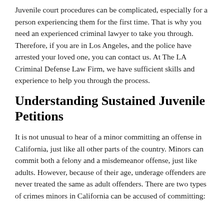Juvenile court procedures can be complicated, especially for a person experiencing them for the first time. That is why you need an experienced criminal lawyer to take you through. Therefore, if you are in Los Angeles, and the police have arrested your loved one, you can contact us. At The LA Criminal Defense Law Firm, we have sufficient skills and experience to help you through the process.
Understanding Sustained Juvenile Petitions
It is not unusual to hear of a minor committing an offense in California, just like all other parts of the country. Minors can commit both a felony and a misdemeanor offense, just like adults. However, because of their age, underage offenders are never treated the same as adult offenders. There are two types of crimes minors in California can be accused of committing: